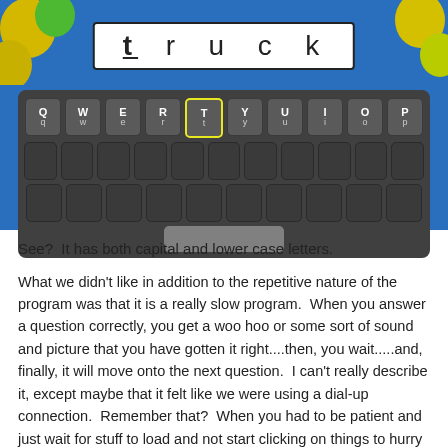[Figure (screenshot): Screenshot of an educational typing/keyboard game showing the word 'truck' at the top with a letter 't' highlighted in a box. Below is a virtual keyboard with the top row showing Qq Ww Ee Rr Tt Yy Uu Ii Oo Pp keys, where the 'Tt' key is highlighted with a yellow border. The remaining keyboard rows show blank/dark keys. Background is blue with balloon decorations in corners.]
See?  It has both capital and lower case letters.
What we didn't like in addition to the repetitive nature of the program was that it is a really slow program.  When you answer a question correctly, you get a woo hoo or some sort of sound and picture that you have gotten it right....then, you wait.....and, finally, it will move onto the next question.  I can't really describe it, except maybe that it felt like we were using a dial-up connection.  Remember that?  When you had to be patient and just wait for stuff to load and not start clicking on things to hurry it up.  You know?  I found myself getting very